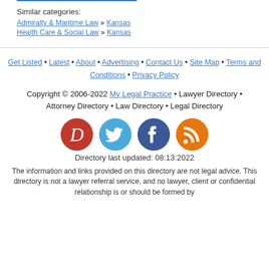Similar categories:
Admiralty & Maritime Law » Kansas
Health Care & Social Law » Kansas
Get Listed • Latest • About • Advertising • Contact Us • Site Map • Terms and Conditions • Privacy Policy
Copyright © 2006-2022 My Legal Practice • Lawyer Directory • Attorney Directory • Law Directory • Legal Directory
[Figure (logo): Four social media icons: My Legal Practice (red D), Twitter (blue bird), Facebook (dark blue f), RSS (orange wifi)]
Directory last updated: 08:13:2022
The information and links provided on this directory are not legal advice. This directory is not a lawyer referral service, and no lawyer, client or confidential relationship is or should be formed by